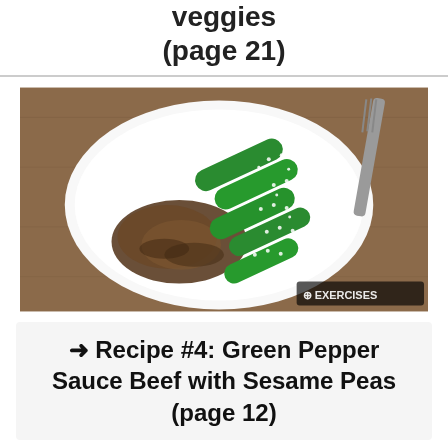veggies (page 21)
[Figure (photo): A white plate with green snow peas topped with sesame seeds alongside braised/sauced beef, on a wooden table with a fork, watermarked with EXERCISES logo.]
→ Recipe #4: Green Pepper Sauce Beef with Sesame Peas (page 12)